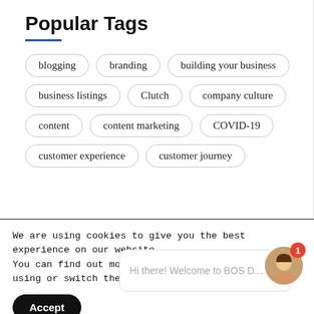Popular Tags
blogging
branding
building your business
business listings
Clutch
company culture
content
content marketing
COVID-19
customer experience
customer journey
We are using cookies to give you the best experience on our website.
You can find out more about which cookies we are using or switch them off i
Accept
Hi there! Welcome to BOS D...